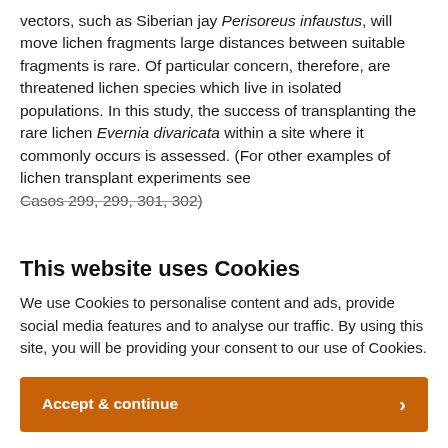vectors, such as Siberian jay Perisoreus infaustus, will move lichen fragments large distances between suitable fragments is rare. Of particular concern, therefore, are threatened lichen species which live in isolated populations. In this study, the success of transplanting the rare lichen Evernia divaricata within a site where it commonly occurs is assessed. (For other examples of lichen transplant experiments see Casos 299, 299, 301, 302).
This website uses Cookies
We use Cookies to personalise content and ads, provide social media features and to analyse our traffic. By using this site, you will be providing your consent to our use of Cookies.